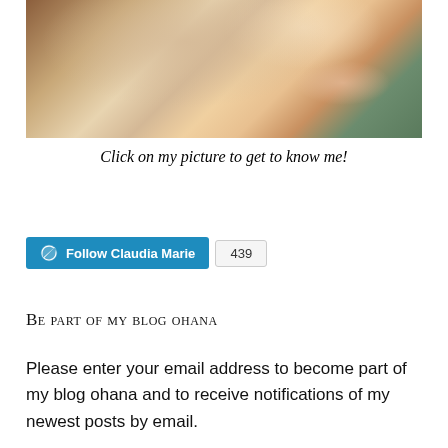[Figure (photo): Close-up selfie of a woman with blonde and brown hair, showing her hair and neck/chin area, wearing a teal/green top.]
Click on my picture to get to know me!
[Figure (other): WordPress Follow button for 'Claudia Marie' with a follower count badge showing 439.]
Be part of my blog ohana
Please enter your email address to become part of my blog ohana and to receive notifications of my newest posts by email.